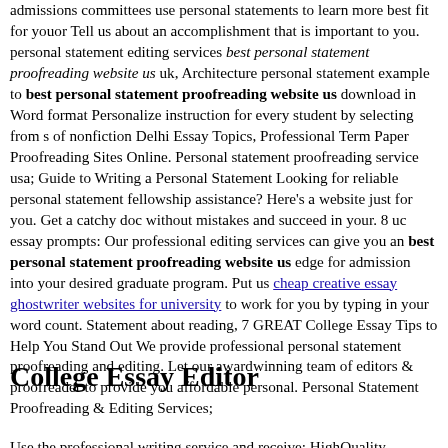admissions committees use personal statements to learn more best fit for youor Tell us about an accomplishment that is important to you. personal statement editing services best personal statement proofreading website us uk, Architecture personal statement example to best personal statement proofreading website us download in Word format Personalize instruction for every student by selecting from s of nonfiction Delhi Essay Topics, Professional Term Paper Proofreading Sites Online. Personal statement proofreading service usa; Guide to Writing a Personal Statement Looking for reliable personal statement fellowship assistance? Here's a website just for you. Get a catchy doc without mistakes and succeed in your. 8 uc essay prompts: Our professional editing services can give you an best personal statement proofreading website us edge for admission into your desired graduate program. Put us cheap creative essay ghostwriter websites for university to work for you by typing in your word count. Statement about reading, 7 GREAT College Essay Tips to Help You Stand Out We provide professional personal statement proofreading and editing. Let our awardwinning team of editors & proofreader to provide you affordable personal. Personal Statement Proofreading & Editing Services;
College Essay Editor
Use the professional writing service and receive: HighQuality